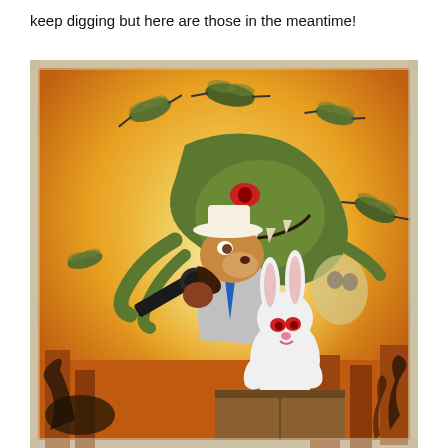keep digging but here are those in the meantime!
[Figure (illustration): Comic book style illustration of Sam & Max characters. A dog-like character in a grey suit and hat holds a large black revolver, with a white rabbit character beside him. Behind them looms a large green monster with red eyes and sharp teeth. Flying insect-like creatures fill the yellow/orange background sky. Dark tentacles and city buildings visible at bottom edges.]